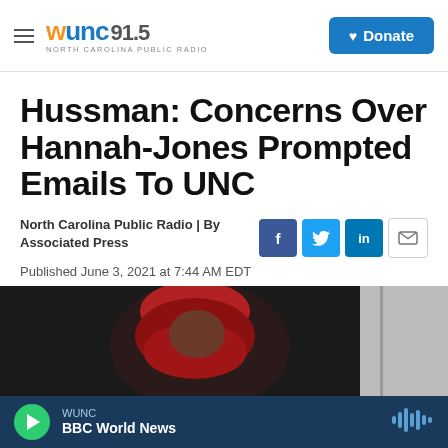WUNC 91.5 NORTH CAROLINA PUBLIC RADIO | Donate
Hussman: Concerns Over Hannah-Jones Prompted Emails To UNC
North Carolina Public Radio | By Associated Press
Published June 3, 2021 at 7:44 AM EDT
[Figure (photo): Partial photo of a person wearing a red garment, dark background]
WUNC | BBC World News